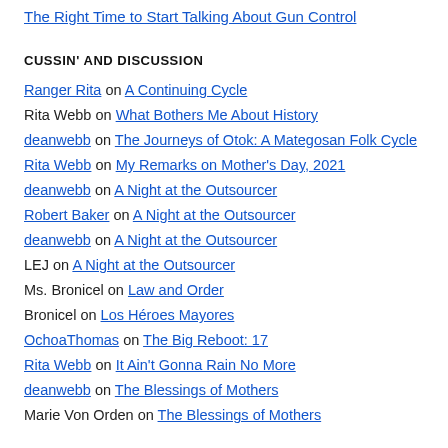The Right Time to Start Talking About Gun Control
CUSSIN' AND DISCUSSION
Ranger Rita on A Continuing Cycle
Rita Webb on What Bothers Me About History
deanwebb on The Journeys of Otok: A Mategosan Folk Cycle
Rita Webb on My Remarks on Mother's Day, 2021
deanwebb on A Night at the Outsourcer
Robert Baker on A Night at the Outsourcer
deanwebb on A Night at the Outsourcer
LEJ on A Night at the Outsourcer
Ms. Bronicel on Law and Order
Bronicel on Los Héroes Mayores
OchoaThomas on The Big Reboot: 17
Rita Webb on It Ain't Gonna Rain No More
deanwebb on The Blessings of Mothers
Marie Von Orden on The Blessings of Mothers